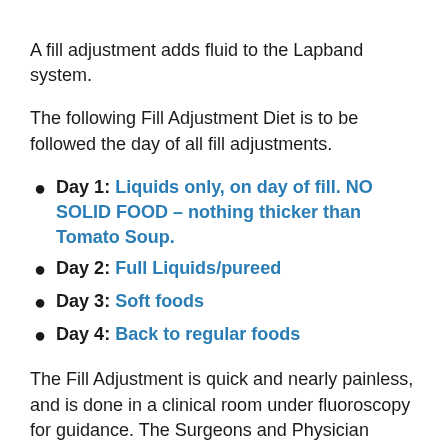A fill adjustment adds fluid to the Lapband system.
The following Fill Adjustment Diet is to be followed the day of all fill adjustments.
Day 1: Liquids only, on day of fill. NO SOLID FOOD – nothing thicker than Tomato Soup.
Day 2: Full Liquids/pureed
Day 3: Soft foods
Day 4: Back to regular foods
The Fill Adjustment is quick and nearly painless, and is done in a clinical room under fluoroscopy for guidance. The Surgeons and Physician Assistants conduct all Fill Adjustments. Fluoroscopy allows theUltimate